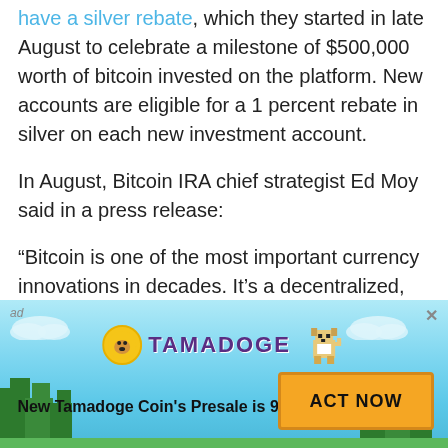have a silver rebate, which they started in late August to celebrate a milestone of $500,000 worth of bitcoin invested on the platform. New accounts are eligible for a 1 percent rebate in silver on each new investment account.
In August, Bitcoin IRA chief strategist Ed Moy said in a press release:
“Bitcoin is one of the most important currency innovations in decades. It’s a decentralized, global form of money, so its value isn’t tied to the economy
[Figure (infographic): Advertisement banner for Tamadoge Coin. Light blue sky background with pixel-art trees, clouds, Tamadoge coin logo (yellow coin with dog face), pixel dog character, and text: 'New Tamadoge Coin's Presale is 95% sold!' with an orange 'ACT NOW' button.]